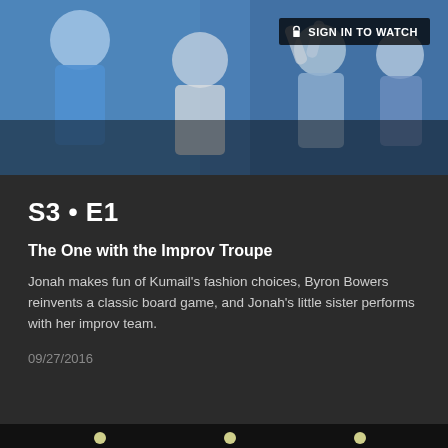[Figure (photo): Top portion of image showing people on stage with colorful clothing; dark overlay with sign-in button]
SIGN IN TO WATCH
S3 • E1
The One with the Improv Troupe
Jonah makes fun of Kumail's fashion choices, Byron Bowers reinvents a classic board game, and Jonah's little sister performs with her improv team.
09/27/2016
[Figure (photo): Two men on a stage with blue/purple lighting facing each other over a table or board game; decorative elements visible in background]